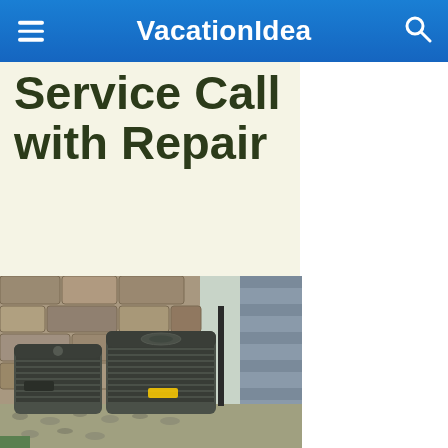VacationIdea
Service Call with Repair
Top-Rated, Full Furnace Diagnostic and Repair Services in Austin, TX. Give Us A Call Today
[Figure (photo): Two outdoor HVAC air conditioning units placed on gravel next to a stone wall and house siding]